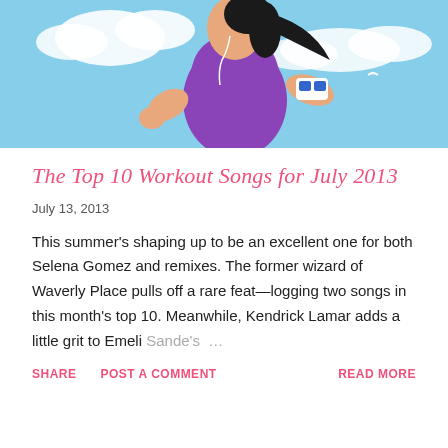[Figure (illustration): Illustration of a woman running with earphones and an armband music player, set against a light blue sky with clouds]
The Top 10 Workout Songs for July 2013
July 13, 2013
This summer's shaping up to be an excellent one for both Selena Gomez and remixes. The former wizard of Waverly Place pulls off a rare feat—logging two songs in this month's top 10. Meanwhile, Kendrick Lamar adds a little grit to Emeli Sande's ...
SHARE   POST A COMMENT   READ MORE